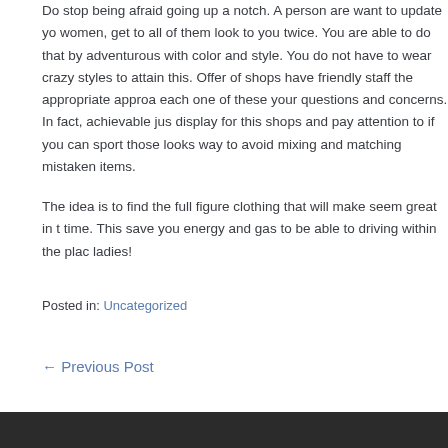Do stop being afraid going up a notch. A person are want to update yo women, get to all of them look to you twice. You are able to do that by adventurous with color and style. You do not have to wear crazy styles to attain this. Offer of shops have friendly staff the appropriate approa each one of these your questions and concerns. In fact, achievable jus display for this shops and pay attention to if you can sport those looks way to avoid mixing and matching mistaken items.
The idea is to find the full figure clothing that will make seem great in t time. This save you energy and gas to be able to driving within the plac ladies!
Posted in: Uncategorized
← Previous Post